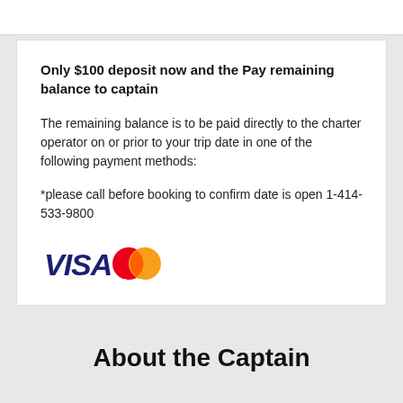Only $100 deposit now and the Pay remaining balance to captain
The remaining balance is to be paid directly to the charter operator on or prior to your trip date in one of the following payment methods:
*please call before booking to confirm date is open 1-414-533-9800
[Figure (logo): Visa and MasterCard payment logos]
About the Captain